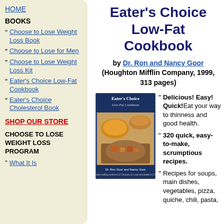HOME
BOOKS
Choose to Lose Weight Loss Book
Choose to Lose for Men
Choose to Lose Weight Loss Kit
Eater's Choice Low-Fat Cookbook
Eater's Choice Cholesterol Book
SHOP OUR STORE
CHOOSE TO LOSE WEIGHT LOSS PROGRAM
What It Is
Eater's Choice Low-Fat Cookbook
by Dr. Ron and Nancy Goor (Houghton Mifflin Company, 1999, 313 pages)
[Figure (photo): Book cover of Eater's Choice Low-Fat Cookbook by Dr. Ron Goor and Nancy Goor, showing food images]
Delicious! Easy! Quick! Eat your way to thinness and good health.
320 quick, easy-to-make, scrumptious recipes.
Recipes for soups, main dishes, vegetables, pizza, quiche, chili, pasta,